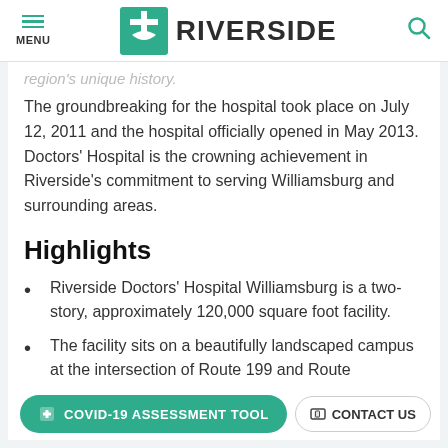MENU | RIVERSIDE
region's unique history.
The groundbreaking for the hospital took place on July 12, 2011 and the hospital officially opened in May 2013. Doctors' Hospital is the crowning achievement in Riverside's commitment to serving Williamsburg and surrounding areas.
Highlights
Riverside Doctors' Hospital Williamsburg is a two-story, approximately 120,000 square foot facility.
The facility sits on a beautifully landscaped campus at the intersection of Route 199 and Route [cut off] and component of the 380+ acre multi-use development named Quarterpath.